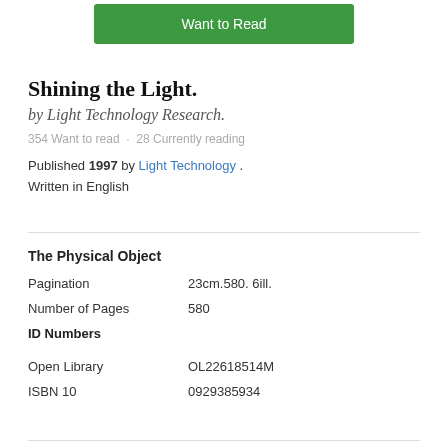[Figure (other): Green 'Want to Read' button]
Shining the Light.
by Light Technology Research.
354 Want to read · 28 Currently reading
Published 1997 by Light Technology . Written in English
The Physical Object
| Field | Value |
| --- | --- |
| Pagination | 23cm.580. 6ill. |
| Number of Pages | 580 |
ID Numbers
| Field | Value |
| --- | --- |
| Open Library | OL22618514M |
| ISBN 10 | 0929385934 |